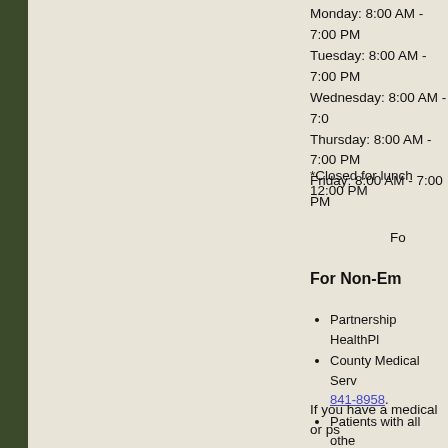Monday: 8:00 AM - 7:00 PM
Tuesday: 8:00 AM - 7:00 PM
Wednesday: 8:00 AM - 7:00 PM
Thursday: 8:00 AM - 7:00 PM
Friday: 8:00 AM - 7:00 PM
*Closed for lunch 12:00 PM
Fo
For Non-Em
Partnership HealthPl
County Medical Serv 841-8958.
Patients with all othe phone lines to be rede
If you have a medical or ps emergency room.